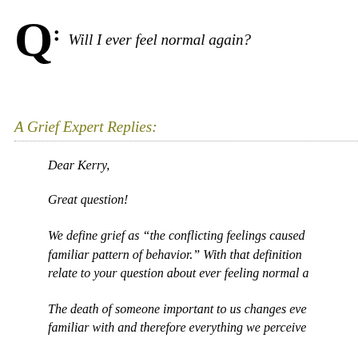Q: Will I ever feel normal again?
A Grief Expert Replies:
Dear Kerry,
Great question!
We define grief as “the conflicting feelings caused by familiar pattern of behavior.” With that definition relate to your question about ever feeling normal a
The death of someone important to us changes eve familiar with and therefore everything we perceive
After a death, things don’t go back to the way they